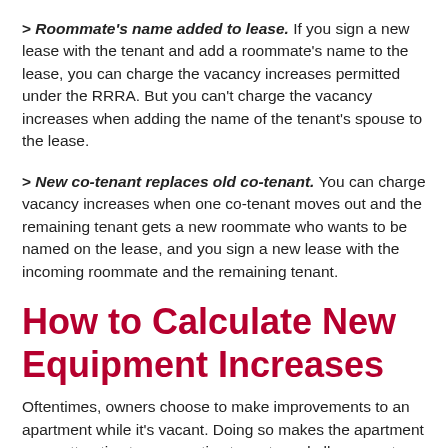> Roommate's name added to lease. If you sign a new lease with the tenant and add a roommate's name to the lease, you can charge the vacancy increases permitted under the RRRA. But you can't charge the vacancy increases when adding the name of the tenant's spouse to the lease.
> New co-tenant replaces old co-tenant. You can charge vacancy increases when one co-tenant moves out and the remaining tenant gets a new roommate who wants to be named on the lease, and you sign a new lease with the incoming roommate and the remaining tenant.
How to Calculate New Equipment Increases
Oftentimes, owners choose to make improvements to an apartment while it's vacant. Doing so makes the apartment more attractive to prospective tenants and allows you to collect an additional rent increase based on a percentage